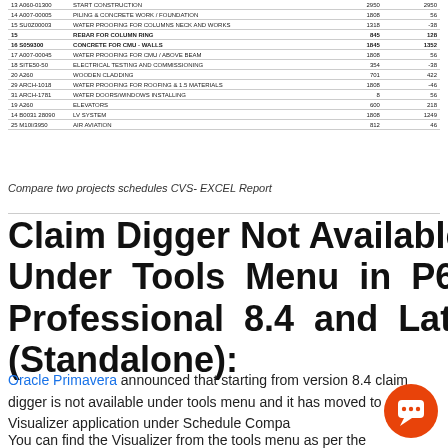[Figure (table-as-image): Partial table listing project schedule items with IDs, descriptions, and numeric values (2 columns of numbers). Rows include items like START CONSTRUCTION, PILING & CONCRETE WORK / FOUNDATION, WATER PROOFING FOR COLUMNS NECK AND WORKS, etc.]
Compare two projects schedules CVS- EXCEL Report
Claim Digger Not Available Under Tools Menu in P6 Professional 8.4 and Later (Standalone):
Oracle Primavera announced that starting from version 8.4 claim digger is not available under tools menu and it has moved to Visualizer application under Schedule Compa…
You can find the Visualizer from the tools menu as per the…